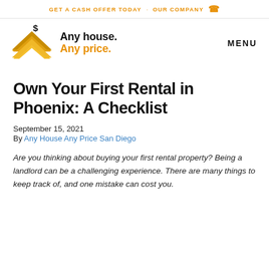GET A CASH OFFER TODAY   OUR COMPANY
[Figure (logo): Any House Any Price logo with yellow chevron/roof icon and dollar sign, alongside bold text 'Any house. Any price.']
MENU
Own Your First Rental in Phoenix: A Checklist
September 15, 2021
By Any House Any Price San Diego
Are you thinking about buying your first rental property? Being a landlord can be a challenging experience. There are many things to keep track of, and one mistake can cost you.